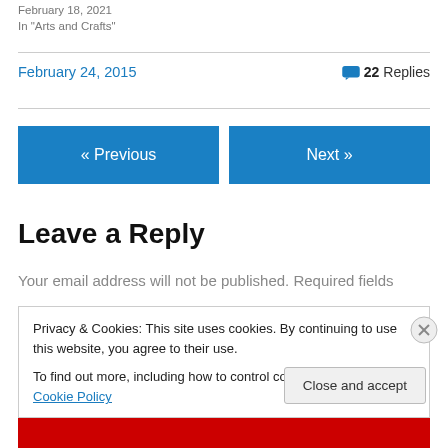February 18, 2021
In "Arts and Crafts"
February 24, 2015
22 Replies
« Previous
Next »
Leave a Reply
Your email address will not be published. Required fields
Privacy & Cookies: This site uses cookies. By continuing to use this website, you agree to their use.
To find out more, including how to control cookies, see here: Cookie Policy
Close and accept